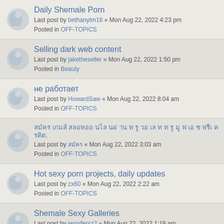Daily Shemale Porn
Last post by bethanytm16 « Mon Aug 22, 2022 4:23 pm
Posted in OFF-TOPICS
Selling dark web content
Last post by jaketheseller « Mon Aug 22, 2022 1:50 pm
Posted in Beauty
не работает
Last post by HowardSaw « Mon Aug 22, 2022 8:04 am
Posted in OFF-TOPICS
สมัคร เกมส์ สลอทออ นไล นผ่ าน ท รู วอ เล ท ท รู มู ฟ เอ ช ฟรีเ ครดิต.
Last post by สมัคร « Mon Aug 22, 2022 3:03 am
Posted in OFF-TOPICS
Hot sexy porn projects, daily updates
Last post by zx60 « Mon Aug 22, 2022 2:22 am
Posted in OFF-TOPICS
Shemale Sexy Galleries
Last post by jennifersz2 « Mon Aug 22, 2022 1:19 am
Posted in OFF-TOPICS
สมัคร เกมส์ สลอทออ นไล นผ่ าน ท รู วอ เล ท ท รู มู ฟ เอ ช ฟรีเ ครดิต.
Last post by สมัคร « Sun Aug 21, 2022 8:12 pm